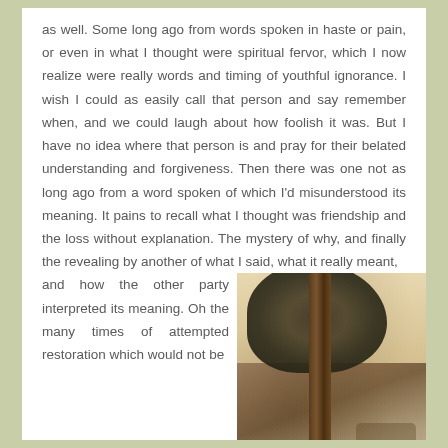as well. Some long ago from words spoken in haste or pain, or even in what I thought were spiritual fervor, which I now realize were really words and timing of youthful ignorance. I wish I could as easily call that person and say remember when, and we could laugh about how foolish it was. But I have no idea where that person is and pray for their belated understanding and forgiveness. Then there was one not as long ago from a word spoken of which I'd misunderstood its meaning. It pains to recall what I thought was friendship and the loss without explanation. The mystery of why, and finally the revealing by another of what I said, what it really meant, and how the other party interpreted its meaning. Oh the many times of attempted restoration which would not be
[Figure (photo): A sepia-toned photograph showing a large tree in a park setting, with what appears to be a person sitting on a bench in the background.]